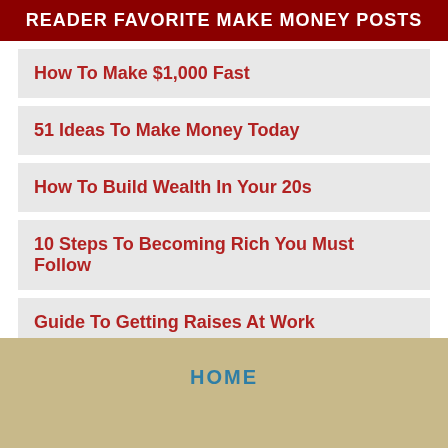READER FAVORITE MAKE MONEY POSTS
How To Make $1,000 Fast
51 Ideas To Make Money Today
How To Build Wealth In Your 20s
10 Steps To Becoming Rich You Must Follow
Guide To Getting Raises At Work
HOME